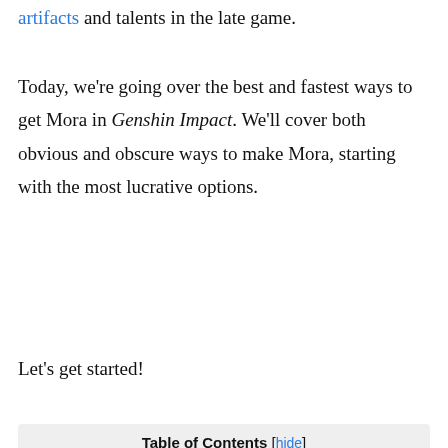artifacts and talents in the late game.
Today, we're going over the best and fastest ways to get Mora in Genshin Impact. We'll cover both obvious and obscure ways to make Mora, starting with the most lucrative options.
Let's get started!
| Table of Contents |
| --- |
| 1 1. Questing and Adventurer Rank |
| 2 2. Treasure Chests |
| 3 3. Events |
| 4 4. Ley Lines (Blossom of Wealth) |